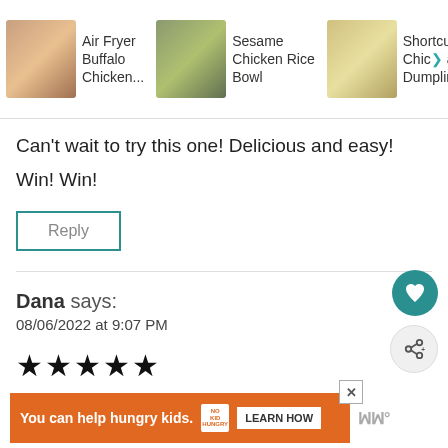[Figure (screenshot): Navigation bar with three food recipe items: Air Fryer Buffalo Chicken..., Sesame Chicken Rice Bowl, Shortcut Chick> and Dumplings, each with a thumbnail food photo]
Can't wait to try this one! Delicious and easy!
Win! Win!
Reply
Dana says:
08/06/2022 at 9:07 PM
[Figure (other): Five solid black star rating icons]
[Figure (other): Advertisement banner: orange background reading 'You can help hungry kids.' with No Kid Hungry logo and LEARN HOW button, with close X button]
[Figure (other): WW logo in gray at bottom right]